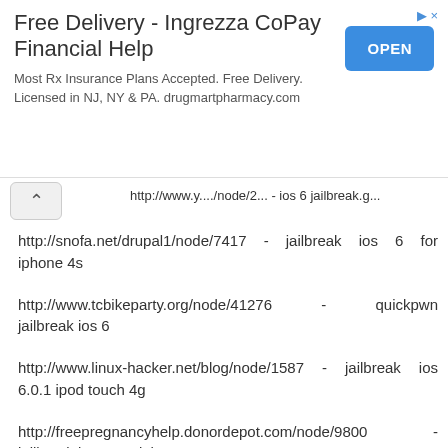[Figure (screenshot): Advertisement banner for Free Delivery - Ingrezza CoPay Financial Help with OPEN button]
http://www.y... - ios 6 jailbreak.g... (truncated URL at top)
http://snofa.net/drupal1/node/7417 - jailbreak ios 6 for iphone 4s
http://www.tcbikeparty.org/node/41276 - quickpwn jailbreak ios 6
http://www.linux-hacker.net/blog/node/1587 - jailbreak ios 6.0.1 ipod touch 4g
http://freepregnancyhelp.donordepot.com/node/9800 - jailbreak ios 6.0.1 iphone 3gs
http://www.hofstrateachtest.org/drp/node/86327 - ios 6 jailbreak december
Responder
Anónimo 13 de febrero de 2013, 3:31